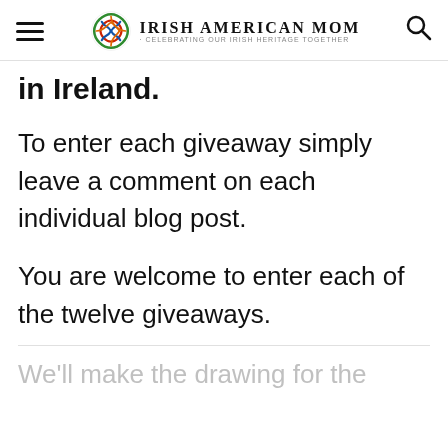Irish American Mom - Celebrating Our Irish Heritage Together
in Ireland.
To enter each giveaway simply leave a comment on each individual blog post.
You are welcome to enter each of the twelve giveaways.
We'll make the drawing for the